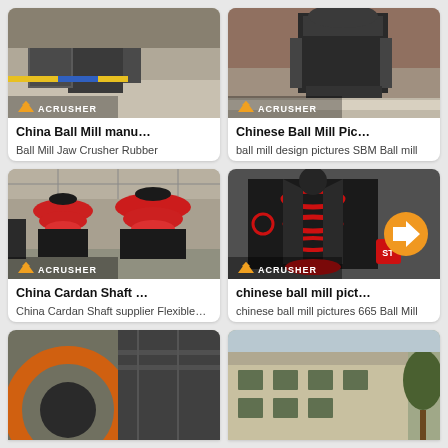[Figure (photo): Industrial machinery/ball mill equipment in factory setting with ACRUSHER logo]
China Ball Mill manu…
Ball Mill Jaw Crusher Rubber Autoclave…
[Figure (photo): Jaw crusher machine in factory with ACRUSHER logo]
Chinese Ball Mill Pic…
ball mill design pictures SBM Ball mill design…
[Figure (photo): Large cone crushers in industrial hall with ACRUSHER logo]
China Cardan Shaft …
China Cardan Shaft supplier Flexible…
[Figure (photo): Cone crusher machinery with ACRUSHER logo and orange arrow button overlay]
chinese ball mill pict…
chinese ball mill pictures 665 Ball Mill stock…
[Figure (photo): Ball mill with orange/red wheel visible, partial card at bottom]
[Figure (photo): Industrial equipment building exterior, partial card at bottom]